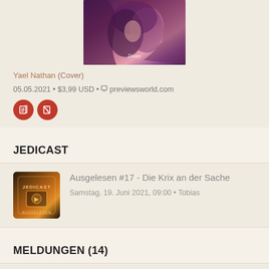[Figure (illustration): Comic book cover art showing figures in purple/pink tones with Disney watermark at bottom]
Yael Nathan (Cover)
05.05.2021 • $3,99 USD • previewsworld.com
[Figure (other): Two red circular icon badges]
JEDICAST
[Figure (photo): Jedicast podcast thumbnail image with logo]
Ausgelesen #17 - Die Krix an der Sache
Samstag, 19. Juni 2021, 09:00 • Tobias
MELDUNGEN (14)
Jedi-Bibliothekarin Ines zu Gast bei